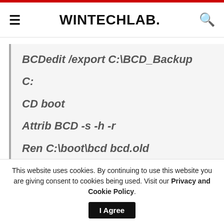WINTECHLAB.
BCDedit /export C:\BCD_Backup
C:
CD boot
Attrib BCD -s -h -r
Ren C:\boot\bcd bcd.old
Bootrec /RebuildBcd
This website uses cookies. By continuing to use this website you are giving consent to cookies being used. Visit our Privacy and Cookie Policy. I Agree